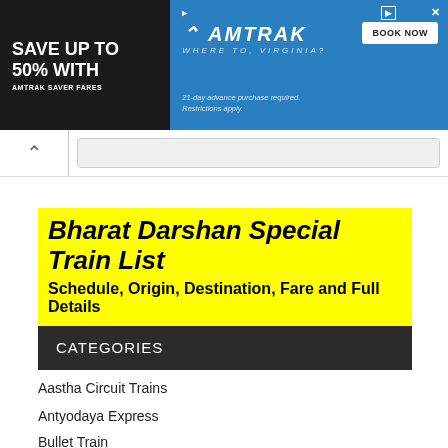[Figure (other): Amtrak advertisement banner: 'SAVE UP TO 50% WITH AMTRAK SAVER FARES' on dark background, Amtrak logo and 'WHERE TO, VIRGINIA?' with 'BOOK NOW' button, '21-day advance purchase required. Restrictions apply.']
Bharat Darshan Special Train List
Schedule, Origin, Destination, Fare and Full Details
CATEGORIES
Aastha Circuit Trains
Antyodaya Express
Bullet Train